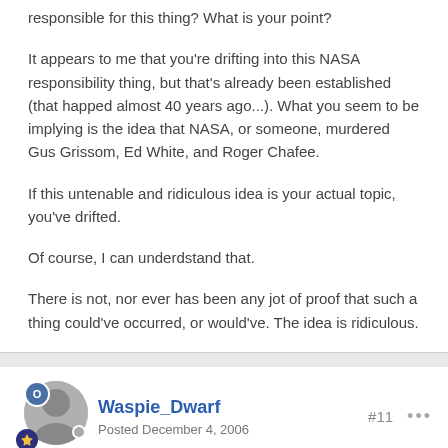responsible for this thing? What is your point?
It appears to me that you're drifting into this NASA responsibility thing, but that's already been established (that happed almost 40 years ago...). What you seem to be implying is the idea that NASA, or someone, murdered Gus Grissom, Ed White, and Roger Chafee.
If this untenable and ridiculous idea is your actual topic, you've drifted.
Of course, I can underdstand that.
There is not, nor ever has been any jot of proof that such a thing could've occurred, or would've. The idea is ridiculous.
Waspie_Dwarf
Posted December 4, 2006
#11
MID said:
Let's cut to the chase here.